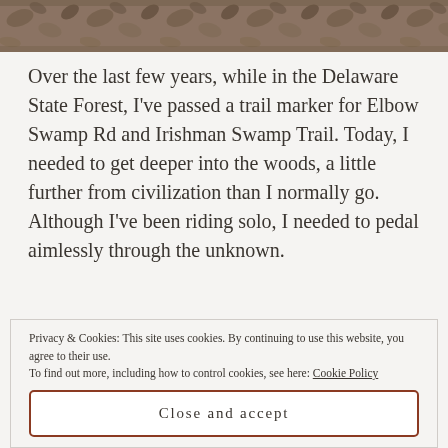[Figure (photo): Forest floor photo showing fallen leaves and tree bark, cropped at top of page]
Over the last few years, while in the Delaware State Forest, I've passed a trail marker for Elbow Swamp Rd and Irishman Swamp Trail. Today, I needed to get deeper into the woods, a little further from civilization than I normally go. Although I've been riding solo, I needed to pedal aimlessly through the unknown.
Privacy & Cookies: This site uses cookies. By continuing to use this website, you agree to their use. To find out more, including how to control cookies, see here: Cookie Policy
Close and accept